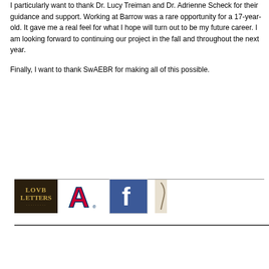I particularly want to thank Dr. Lucy Treiman and Dr. Adrienne Scheck for their guidance and support. Working at Barrow was a rare opportunity for a 17-year-old. It gave me a real feel for what I hope will turn out to be my future career. I am looking forward to continuing our project in the fall and throughout the next year.
Finally, I want to thank SwAEBR for making all of this possible.
[Figure (logo): Love Letters logo - dark background with gold serif text]
[Figure (logo): University of Arizona block A logo in red and navy]
[Figure (logo): Facebook logo - blue square with white f]
[Figure (logo): Partial fourth logo, cut off at page edge]